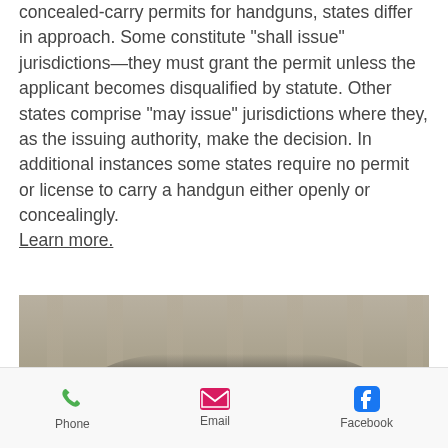concealed-carry permits for handguns, states differ in approach. Some constitute "shall issue" jurisdictions—they must grant the permit unless the applicant becomes disqualified by statute. Other states comprise "may issue" jurisdictions where they, as the issuing authority, make the decision. In additional instances some states require no permit or license to carry a handgun either openly or concealingly. Learn more.
[Figure (photo): Two police officers in uniform standing in front of a vehicle and a large building with columns.]
Phone   Email   Facebook